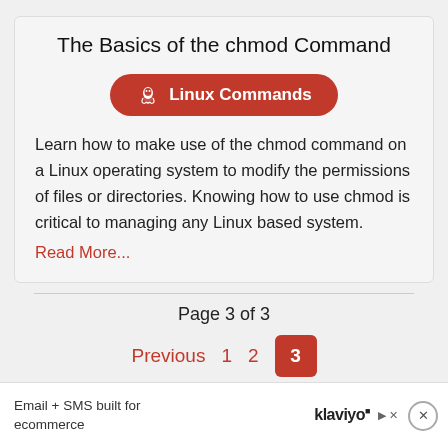The Basics of the chmod Command
[Figure (other): Red rounded badge button with Linux penguin icon and text 'Linux Commands']
Learn how to make use of the chmod command on a Linux operating system to modify the permissions of files or directories. Knowing how to use chmod is critical to managing any Linux based system.
Read More...
Page 3 of 3
Previous  1  2  3
[Figure (other): Advertisement banner: Email + SMS built for ecommerce — klaviyo]